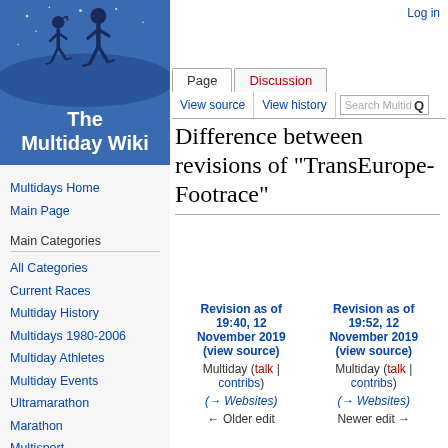Log in
[Figure (illustration): The Multiday Wiki logo: blue background with silhouettes of two runners against a starry night sky, white text 'The Multiday Wiki']
Multidays Home
Main Page
Main Categories
All Categories
Current Races
Multiday History
Multidays 1980-2006
Multiday Athletes
Multiday Events
Ultramarathon
Marathon
Multisport
Links
Difference between revisions of "TransEurope-Footrace"
| Revision as of 19:40, 12 November 2019 (view source) | Revision as of 19:52, 12 November 2019 (view source) |
| --- | --- |
| Multiday (talk | contribs) | Multiday (talk | contribs) |
| (→Websites) | (→Websites) |
| ← Older edit | Newer edit → |